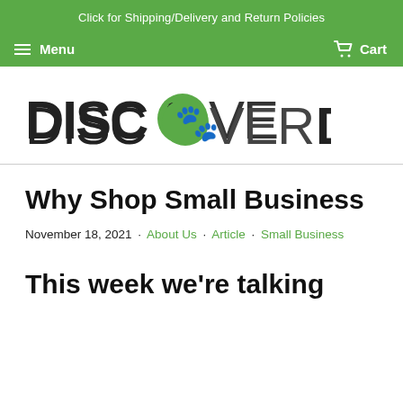Click for Shipping/Delivery and Return Policies
Menu   Cart
[Figure (logo): Discover Dogs logo with stylized dog head icon replacing the letter O in DISCOVER]
Why Shop Small Business
November 18, 2021 · About Us · Article · Small Business
This week we're talking